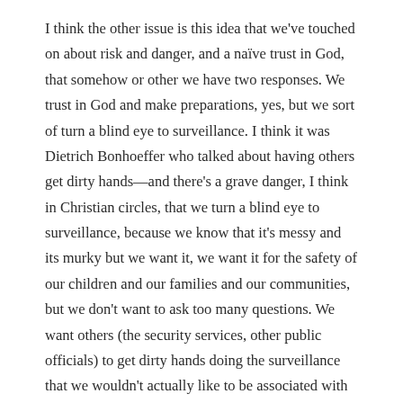I think the other issue is this idea that we've touched on about risk and danger, and a naïve trust in God, that somehow or other we have two responses. We trust in God and make preparations, yes, but we sort of turn a blind eye to surveillance. I think it was Dietrich Bonhoeffer who talked about having others get dirty hands—and there's a grave danger, I think in Christian circles, that we turn a blind eye to surveillance, because we know that it's messy and its murky but we want it, we want it for the safety of our children and our families and our communities, but we don't want to ask too many questions. We want others (the security services, other public officials) to get dirty hands doing the surveillance that we wouldn't actually like to be associated with as citizens. I think that is more problematic than the naïve idea that somehow or other God is just going to protect us. I think